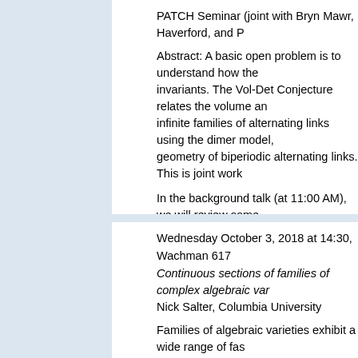PATCH Seminar (joint with Bryn Mawr, Haverford, and P...
Abstract: A basic open problem is to understand how the invariants. The Vol-Det Conjecture relates the volume an... infinite families of alternating links using the dimer model, geometry of biperiodic alternating links. This is joint work...
In the background talk (at 11:00 AM), we will review some generalize these ideas to study the geometry of biperiodic...
Wednesday October 3, 2018 at 14:30, Wachman 617
Continuous sections of families of complex algebraic var...
Nick Salter, Columbia University
Families of algebraic varieties exhibit a wide range of fas... (configurations of points on the Riemann sphere) and one related to the theory of braid groups and mapping class g... one aspect of the topology of such families: the problem o... these results give answers to the following sorts of quest...